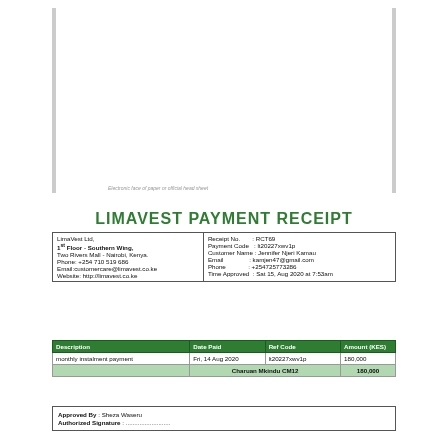[Figure (other): Decorative vertical bars on left and right sides of document header area]
Electronic face of paper or official head sheet
LIMAVEST PAYMENT RECEIPT
| LimaVest Ltd,
1st Floor - Southern Wing,
Two Rivers Mall - Nairobi, Kenya.
Phone: +254 710 519 686
Email:customercare@limavest.co.ke
Website: http://limavest.co.ke | Receipt No.      : RCT69
Payment Code  : lt20227xwv1p
Customer Name : Jennifer Njeri Kamau
Email               : kamjen47@gmail.com
Phone              : +254725773286
Time Approved  : Sat 15, Aug 2020 at 7:53am |
| Description | Date Paid | Ref Code | Amount (KES) |
| --- | --- | --- | --- |
| monthly instalment payment | Fri, 14 Aug 2020 | lt20227xwv1p | 180,000 |
|  | Charuan Mkindu CM12 |  | 180,000 |
Approved By : Sheza Waseru
Authorized Signature : ......................